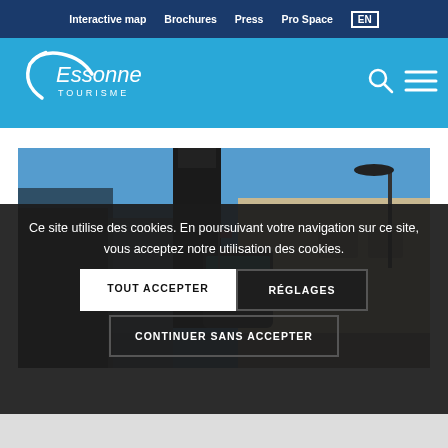Interactive map  Brochures  Press  Pro Space  EN
[Figure (logo): Essonne Tourisme logo in white on cyan/blue background with search and hamburger menu icons]
[Figure (photo): Photograph of a building exterior with a tall dark tower/chimney, blue sky, and street lamp]
Ce site utilise des cookies. En poursuivant votre navigation sur ce site, vous acceptez notre utilisation des cookies.
TOUT ACCEPTER
RÉGLAGES
CONTINUER SANS ACCEPTER